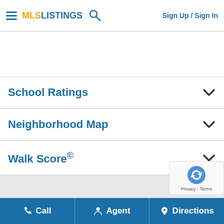MLS LISTINGS | Sign Up / Sign In
School Ratings
Neighborhood Map
Walk Score©
1386 Montrose Dr is a Single Family Residence in San Leandro, CA S... This 1,615 square foot property sits on a 7,700 Sq Ft Lot and features
Call | Agent | Directions